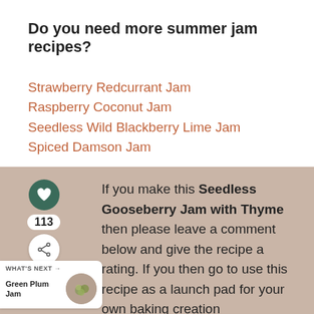Do you need more summer jam recipes?
Strawberry Redcurrant Jam
Raspberry Coconut Jam
Seedless Wild Blackberry Lime Jam
Spiced Damson Jam
If you make this Seedless Gooseberry Jam with Thyme then please leave a comment below and give the recipe a rating. If you then go to use this recipe as a launch pad for your own baking creation